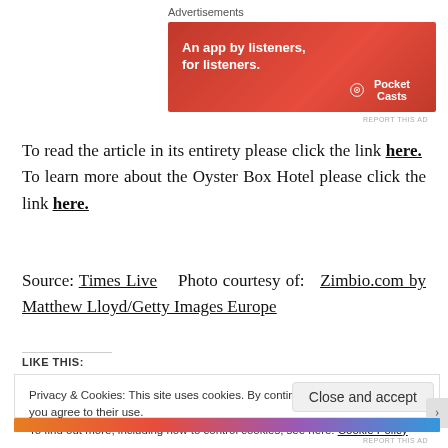[Figure (photo): Red advertisement banner for Pocket Casts app: 'An app by listeners, for listeners.' with phone image and Pocket Casts logo]
To read the article in its entirety please click the link here. To learn more about the Oyster Box Hotel please click the link here.
Source: Times Live  Photo courtesy of: Zimbio.com by Matthew Lloyd/Getty Images Europe
LIKE THIS:
Privacy & Cookies: This site uses cookies. By continuing to use this website, you agree to their use. To find out more, including how to control cookies, see here: Cookie Policy